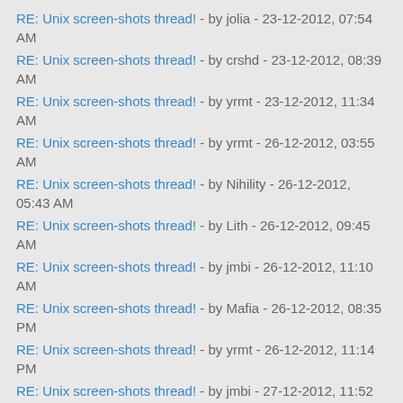RE: Unix screen-shots thread! - by jolia - 23-12-2012, 07:54 AM
RE: Unix screen-shots thread! - by crshd - 23-12-2012, 08:39 AM
RE: Unix screen-shots thread! - by yrmt - 23-12-2012, 11:34 AM
RE: Unix screen-shots thread! - by yrmt - 26-12-2012, 03:55 AM
RE: Unix screen-shots thread! - by Nihility - 26-12-2012, 05:43 AM
RE: Unix screen-shots thread! - by Lith - 26-12-2012, 09:45 AM
RE: Unix screen-shots thread! - by jmbi - 26-12-2012, 11:10 AM
RE: Unix screen-shots thread! - by Mafia - 26-12-2012, 08:35 PM
RE: Unix screen-shots thread! - by yrmt - 26-12-2012, 11:14 PM
RE: Unix screen-shots thread! - by jmbi - 27-12-2012, 11:52 AM
RE: Unix screen-shots thread! - by Phyrne - 28-12-2012, 11:37 AM
RE: Unix screen-shots thread! - by Jayro - 29-12-2012, 08:27 PM